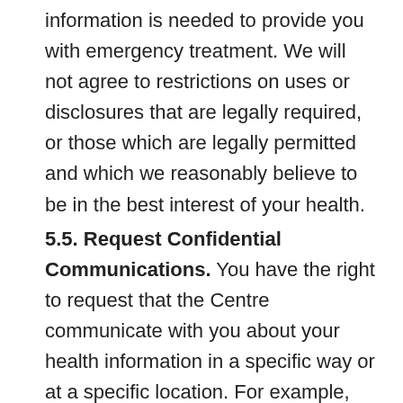information is needed to provide you with emergency treatment. We will not agree to restrictions on uses or disclosures that are legally required, or those which are legally permitted and which we reasonably believe to be in the best interest of your health.
5.5. Request Confidential Communications. You have the right to request that the Centre communicate with you about your health information in a specific way or at a specific location. For example, you can ask that we only contact you at work or by mail. We will accommodate all reasonable requests.
5.6. Right to File a Complaint. If you have any questions or believe that your privacy rights have been violated, you may contact the Centre's Data Protection Officer in person or